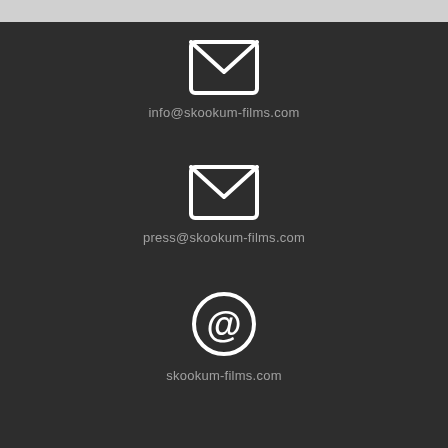[Figure (illustration): Email envelope icon]
info@skookum-films.com
[Figure (illustration): Email envelope icon]
press@skookum-films.com
[Figure (illustration): At-sign / website icon]
skookum-films.com